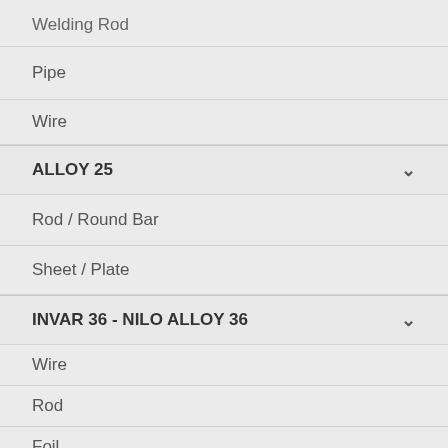Welding Rod
Pipe
Wire
ALLOY 25
Rod / Round Bar
Sheet / Plate
INVAR 36 - NILO ALLOY 36
Wire
Rod
Foil
Sheet / Plate
Tube